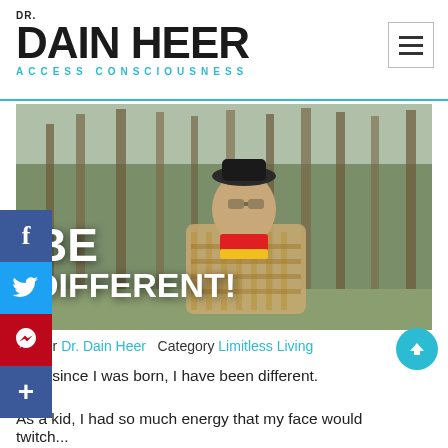DR. DAIN HEER ACCESS CONSCIOUSNESS
[Figure (photo): A small chihuahua dog dressed in a costume with a black hat and glasses sitting in a wicker basket, with a forest of pine trees in the background. Text overlay reads BE DIFFERENT!]
Author Dr. Dain Heer  Category Limitless Living
Ever since I was born, I have been different.
As a kid, I had so much energy that my face would twitch...